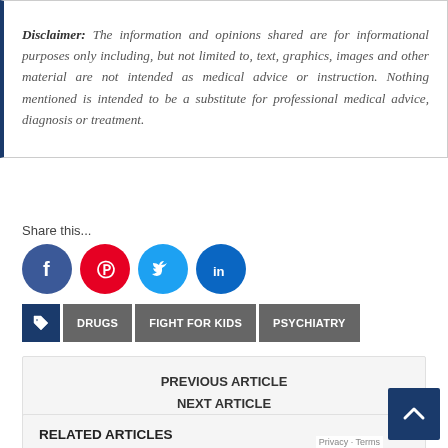Disclaimer: The information and opinions shared are for informational purposes only including, but not limited to, text, graphics, images and other material are not intended as medical advice or instruction. Nothing mentioned is intended to be a substitute for professional medical advice, diagnosis or treatment.
Share this...
[Figure (infographic): Four social media share buttons: Facebook (blue circle with f), Pinterest (red circle with P), Twitter (light blue circle with bird), LinkedIn (blue circle with in)]
DRUGS
FIGHT FOR KIDS
PSYCHIATRY
PREVIOUS ARTICLE
NEXT ARTICLE
RELATED ARTICLES